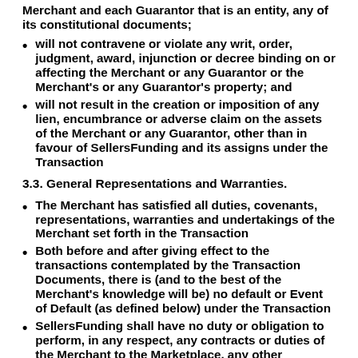Merchant and each Guarantor that is an entity, any of its constitutional documents;
will not contravene or violate any writ, order, judgment, award, injunction or decree binding on or affecting the Merchant or any Guarantor or the Merchant's or any Guarantor's property; and
will not result in the creation or imposition of any lien, encumbrance or adverse claim on the assets of the Merchant or any Guarantor, other than in favour of SellersFunding and its assigns under the Transaction
3.3. General Representations and Warranties.
The Merchant has satisfied all duties, covenants, representations, warranties and undertakings of the Merchant set forth in the Transaction
Both before and after giving effect to the transactions contemplated by the Transaction Documents, there is (and to the best of the Merchant's knowledge will be) no default or Event of Default (as defined below) under the Transaction
SellersFunding shall have no duty or obligation to perform, in any respect, any contracts or duties of the Merchant to the Marketplace, any other marketplace